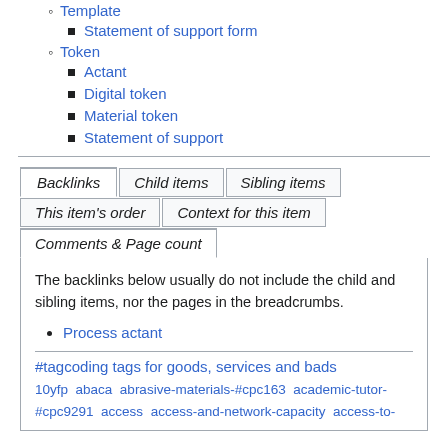Template
  - Statement of support form
Token
  - Actant
  - Digital token
  - Material token
  - Statement of support
Backlinks | Child items | Sibling items | This item's order | Context for this item | Comments & Page count
The backlinks below usually do not include the child and sibling items, nor the pages in the breadcrumbs.
Process actant
#tagcoding tags for goods, services and bads
10yfp  abaca  abrasive-materials-#cpc163  academic-tutor-#cpc9291  access  access-and-network-capacity  access-to-